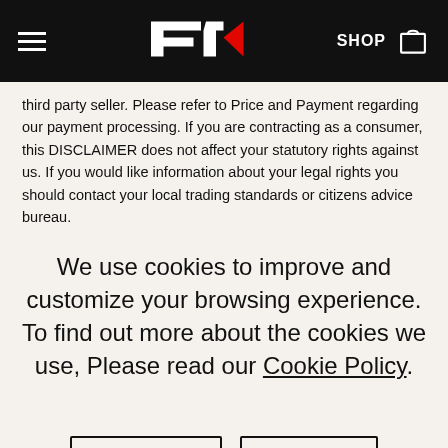F1 website header with hamburger menu, F1 logo, SHOP link and bag icon
third party seller. Please refer to Price and Payment regarding our payment processing. If you are contracting as a consumer, this DISCLAIMER does not affect your statutory rights against us. If you would like information about your legal rights you should contact your local trading standards or citizens advice bureau.
We use cookies to improve and customize your browsing experience. To find out more about the cookies we use, Please read our Cookie Policy.
Disable All
Allow All